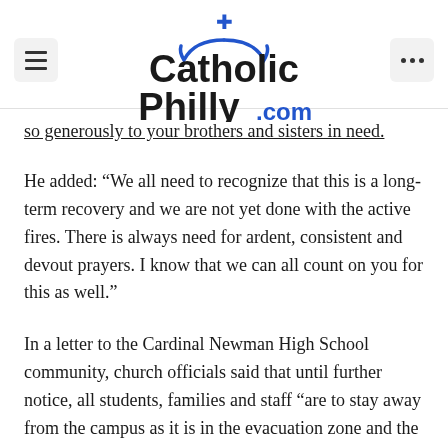CatholicPhilly.com
so generously to your brothers and sisters in need.
He added: “We all need to recognize that this is a long-term recovery and we are not yet done with the active fires. There is always need for ardent, consistent and devout prayers. I know that we can all count on you for this as well.”
In a letter to the Cardinal Newman High School community, church officials said that until further notice, all students, families and staff “are to stay away from the campus as it is in the evacuation zone and the site is not safe.”
School officials were working on a way to hold classes in another location, suggesting they might come up with a “hybrid” solution, offering some classes online. They invited